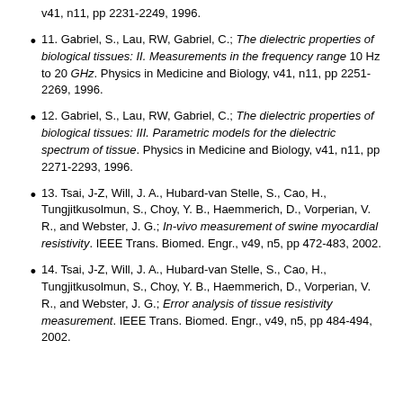11. Gabriel, S., Lau, RW, Gabriel, C.; The dielectric properties of biological tissues: II. Measurements in the frequency range 10 Hz to 20 GHz. Physics in Medicine and Biology, v41, n11, pp 2251-2269, 1996.
12. Gabriel, S., Lau, RW, Gabriel, C.; The dielectric properties of biological tissues: III. Parametric models for the dielectric spectrum of tissue. Physics in Medicine and Biology, v41, n11, pp 2271-2293, 1996.
13. Tsai, J-Z, Will, J. A., Hubard-van Stelle, S., Cao, H., Tungjitkusolmun, S., Choy, Y. B., Haemmerich, D., Vorperian, V. R., and Webster, J. G.; In-vivo measurement of swine myocardial resistivity. IEEE Trans. Biomed. Engr., v49, n5, pp 472-483, 2002.
14. Tsai, J-Z, Will, J. A., Hubard-van Stelle, S., Cao, H., Tungjitkusolmun, S., Choy, Y. B., Haemmerich, D., Vorperian, V. R., and Webster, J. G.; Error analysis of tissue resistivity measurement. IEEE Trans. Biomed. Engr., v49, n5, pp 484-494, 2002.